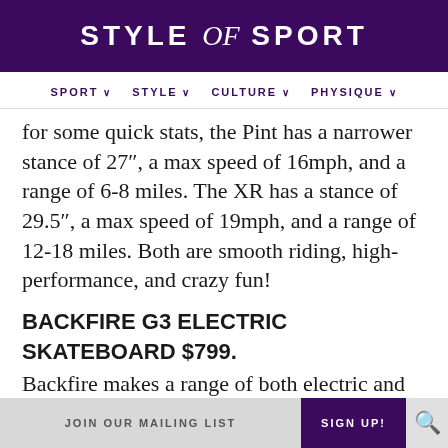STYLE of SPORT
SPORT  STYLE  CULTURE  PHYSIQUE
for some quick stats, the Pint has a narrower stance of 27", a max speed of 16mph, and a range of 6-8 miles. The XR has a stance of 29.5", a max speed of 19mph, and a range of 12-18 miles. Both are smooth riding, high-performance, and crazy fun!
BACKFIRE G3 ELECTRIC SKATEBOARD $799.
Backfire makes a range of both electric and non-motorized longboards. The G3 shown here is their bestselling high-performance electric skateboard. It features a super flexible bamboo and fiberglass deck; quick and smooth carving
JOIN OUR MAILING LIST   SIGN UP!